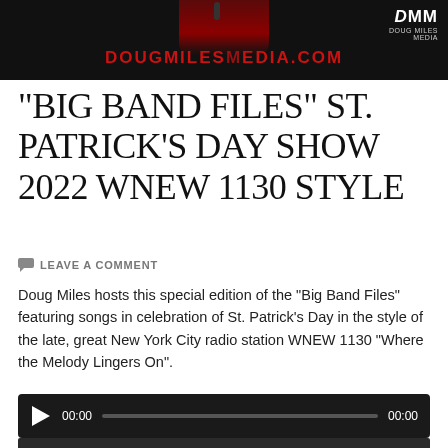[Figure (screenshot): Dark banner header with a person in a red shirt at the top center, red text 'DOUGMILESMEDIA.COM' across the middle, and a 'DMM / DOUG MILES MEDIA' logo in the top right corner.]
“BIG BAND FILES” ST. PATRICK’S DAY SHOW 2022 WNEW 1130 STYLE
LEAVE A COMMENT
Doug Miles hosts this special edition of the “Big Band Files” featuring songs in celebration of St. Patrick’s Day in the style of the late, great New York City radio station WNEW 1130 “Where the Melody Lingers On”.
[Figure (screenshot): Audio player with play button, 00:00 timestamp on left, progress bar in middle, 00:00 timestamp on right, all on dark background.]
[Figure (screenshot): Bottom thumbnail strip, dark colored, partially visible.]